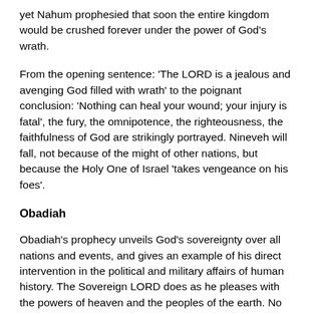yet Nahum prophesied that soon the entire kingdom would be crushed forever under the power of God's wrath.
From the opening sentence: 'The LORD is a jealous and avenging God filled with wrath' to the poignant conclusion: 'Nothing can heal your wound; your injury is fatal', the fury, the omnipotence, the righteousness, the faithfulness of God are strikingly portrayed. Nineveh will fall, not because of the might of other nations, but because the Holy One of Israel 'takes vengeance on his foes'.
Obadiah
Obadiah's prophecy unveils God's sovereignty over all nations and events, and gives an example of his direct intervention in the political and military affairs of human history. The Sovereign LORD does as he pleases with the powers of heaven and the peoples of the earth. No one can hold back his hand or say to him: 'What have you done?'
It is the God of history who summons and equips the nations to destroy the Edomites for their arrogance and violence against their brother Jacob. It is the Judge and Ruler of mankind who gives the Edomites no hope of